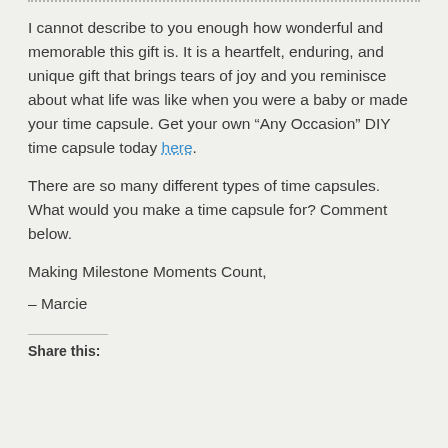I cannot describe to you enough how wonderful and memorable this gift is. It is a heartfelt, enduring, and unique gift that brings tears of joy and you reminisce about what life was like when you were a baby or made your time capsule. Get your own “Any Occasion” DIY time capsule today here.
There are so many different types of time capsules. What would you make a time capsule for? Comment below.
Making Milestone Moments Count,
– Marcie
Share this: